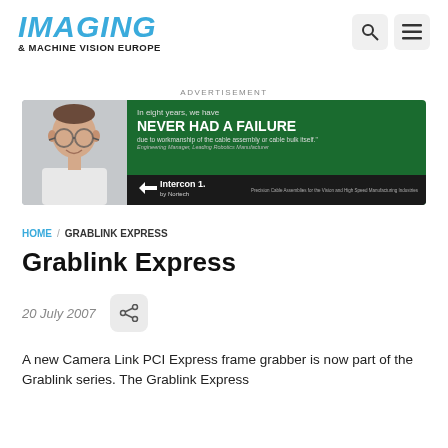[Figure (logo): Imaging & Machine Vision Europe logo in blue italic text with subtitle]
[Figure (advertisement): Intercon 1 by Nortech advertisement: photo of a man with glasses on green background, text 'In eight years, we have NEVER HAD A FAILURE due to workmanship of the cable assembly or cable bulk itself.' Engineering Manager, Leading Robotics Manufacturer. Precision Cable Assemblies for the Vision and High Speed Manufacturing Industries.]
ADVERTISEMENT
HOME / GRABLINK EXPRESS
Grablink Express
20 July 2007
A new Camera Link PCI Express frame grabber is now part of the Grablink series. The Grablink Express